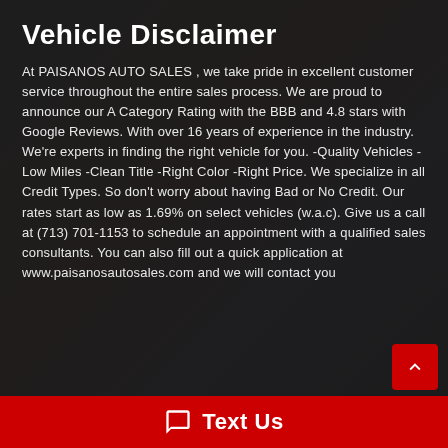Vehicle Disclaimer
At PAISANOS AUTO SALES , we take pride in excellent customer service throughout the entire sales process. We are proud to announce our A Category Rating with the BBB and 4.8 stars with Google Reviews. With over 16 years of experience in the industry. We're experts in finding the right vehicle for you. -Quality Vehicles -Low Miles -Clean Title -Right Color -Right Price. We specialize in all Credit Types. So don't worry about having Bad or No Credit. Our rates start as low as 1.69% on select vehicles (w.a.c). Give us a call at (713) 701-1153 to schedule an appointment with a qualified sales consultants. You can also fill out a quick application at www.paisanosautosales.com and we will contact you
Text Us